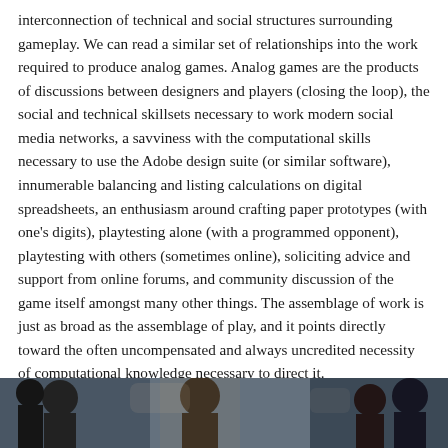interconnection of technical and social structures surrounding gameplay. We can read a similar set of relationships into the work required to produce analog games. Analog games are the products of discussions between designers and players (closing the loop), the social and technical skillsets necessary to work modern social media networks, a savviness with the computational skills necessary to use the Adobe design suite (or similar software), innumerable balancing and listing calculations on digital spreadsheets, an enthusiasm around crafting paper prototypes (with one's digits), playtesting alone (with a programmed opponent), playtesting with others (sometimes online), soliciting advice and support from online forums, and community discussion of the game itself amongst many other things. The assemblage of work is just as broad as the assemblage of play, and it points directly toward the often uncompensated and always uncredited necessity of computational knowledge necessary to direct it.
[Figure (photo): A partial photograph strip visible at the bottom of the page showing people, partially cropped.]